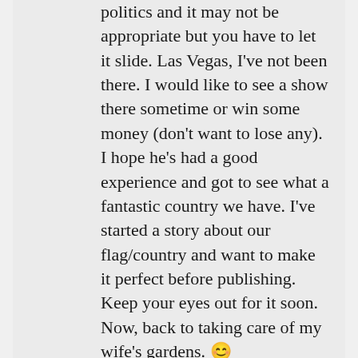politics and it may not be appropriate but you have to let it slide. Las Vegas, I've not been there. I would like to see a show there sometime or win some money (don't want to lose any). I hope he's had a good experience and got to see what a fantastic country we have. I've started a story about our flag/country and want to make it perfect before publishing. Keep your eyes out for it soon. Now, back to taking care of my wife's gardens. 😊
★ Liked by 1 person